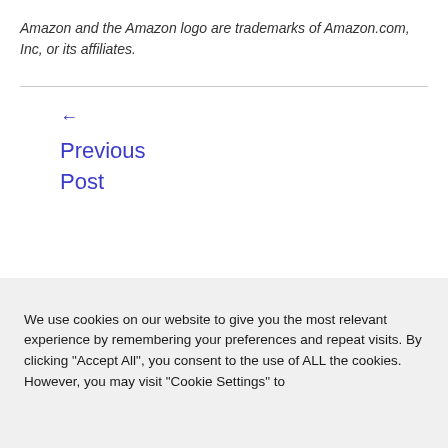Amazon and the Amazon logo are trademarks of Amazon.com, Inc, or its affiliates.
← Previous Post
We use cookies on our website to give you the most relevant experience by remembering your preferences and repeat visits. By clicking "Accept All", you consent to the use of ALL the cookies. However, you may visit "Cookie Settings" to